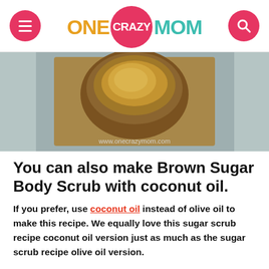ONE CRAZY MOM
[Figure (photo): A jar of brown sugar body scrub on a blue fabric surface, with watermark www.onecrazymom.com]
You can also make Brown Sugar Body Scrub with coconut oil.
If you prefer, use coconut oil instead of olive oil to make this recipe. We equally love this sugar scrub recipe coconut oil version just as much as the sugar scrub recipe olive oil version.
How do you make a brown sugar